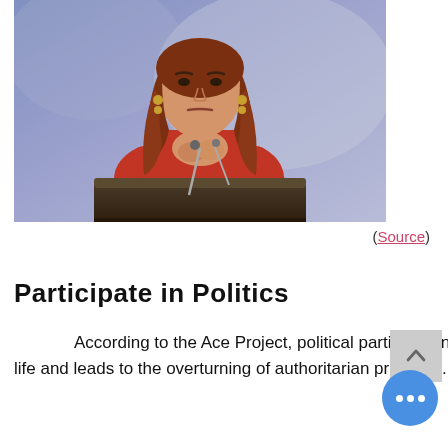[Figure (photo): A woman with red/auburn hair wearing a red long-sleeve top stands at a podium with microphones, hands clasped at chest, against a blueish-purple blurred background.]
(Source)
Participate in Politics
According to the Ace Project, political participation has the power to bring democratic values to life and leads to the overturning of authoritarian practices. Therefore, if you vote,